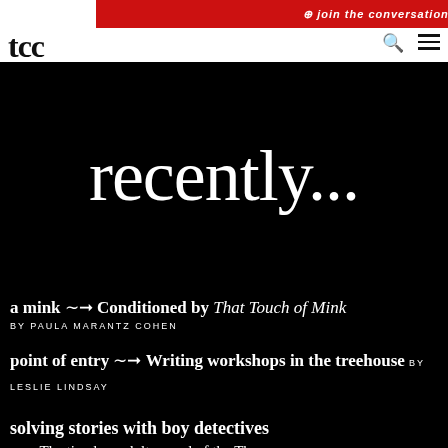join the conversation
[Figure (logo): TCC logo with stylized quotation marks]
recently...
a mink → Conditioned by That Touch of Mink BY PAULA MARANTZ COHEN
point of entry → Writing workshops in the treehouse BY LESLIE LINDSAY
solving stories with boy detectives → The timeless adult appeal of the Three